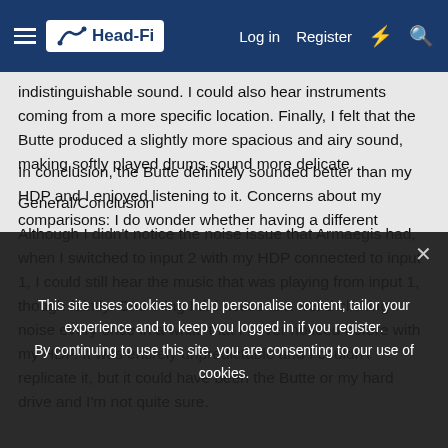Head-Fi | Log in | Register
indistinguishable sound.  I could also hear instruments coming from a more specific location.  Finally, I felt that the Butte produced a slightly more spacious and airy sound, making softly played drums sound more delicate.
General/Conclusion
Although I didn't notice the noise issue that Armaegis had, when I switched to input 2 with my HDP connected to input 1, I could still hear the music that was playing from input 1, though faintly.  One thing I did notice is a weird clicking noise every once in a while that I never noticed before with my HDP.  It was entirely unpredictable and I couldn't replicate it, but it could have been the Butte or my hard drive and I'm not quite sure.
In conclusion, the Butte definitely sounded better than my HDP and I enjoyed listening to it.  Concerns about my comparisons:  I do wonder whether having a different (amplifier) can alter the sound.  I'm not quite sure whether
This site uses cookies to help personalise content, tailor your experience and to keep you logged in if you register. By continuing to use this site, you are consenting to our use of cookies.